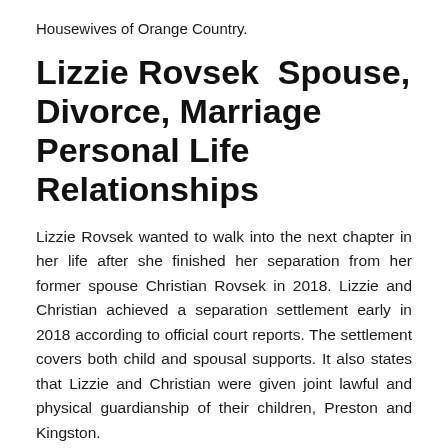Housewives of Orange Country.
Lizzie Rovsek Spouse, Divorce, Marriage Personal Life Relationships
Lizzie Rovsek wanted to walk into the next chapter in her life after she finished her separation from her former spouse Christian Rovsek in 2018. Lizzie and Christian achieved a separation settlement early in 2018 according to official court reports. The settlement covers both child and spousal supports. It also states that Lizzie and Christian were given joint lawful and physical guardianship of their children, Preston and Kingston.
The beautiful swimwear designer petitioned for legal separation in October from her ex-husband